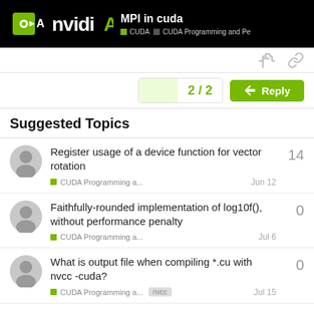MPI in cuda — CUDA > CUDA Programming and Pe
Suggested Topics
Register usage of a device function for vector rotation — CUDA Programming a... — Jun 12 — 14 replies
Faithfully-rounded implementation of log10f(), without performance penalty — CUDA Programming a... — Jul 6 — 0 replies
What is output file when compiling *.cu with nvcc -cuda? — CUDA Programming a... nvcc — Jul 15 — 0 replies